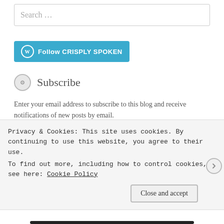[Figure (screenshot): Search input field with placeholder text 'Search ...']
[Figure (screenshot): WordPress Follow button with teal background reading 'Follow CRISPLY SPOKEN']
Subscribe
Enter your email address to subscribe to this blog and receive notifications of new posts by email.
[Figure (screenshot): Email Address input field]
[Figure (screenshot): SIGN ME UP! button with dashed border]
Privacy & Cookies: This site uses cookies. By continuing to use this website, you agree to their use.
To find out more, including how to control cookies, see here: Cookie Policy
[Figure (screenshot): Close and accept button]